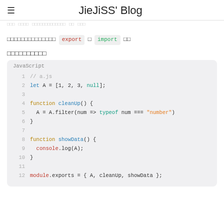JieJiSS' Blog
□□□□□□□□□□□□□□ export 、 import □□
□□□□□□□□□□
[Figure (screenshot): JavaScript code block showing a.js with array A, cleanUp function using filter and typeof, showData function using console.log, and module.exports]